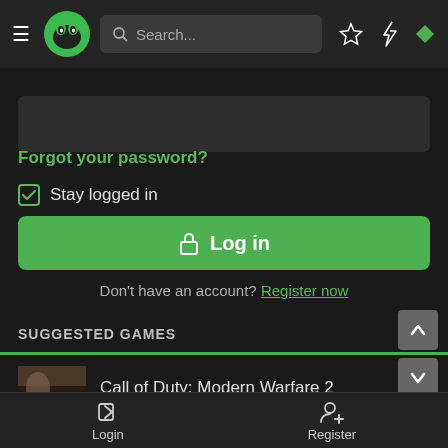[Figure (screenshot): App header with hamburger menu, green monster logo, search bar, star icon, lightning icon, and green diamond icon]
[Figure (screenshot): Password input field (dark rectangle)]
Forgot your password?
Stay logged in
Log in
Don't have an account? Register now
SUGGESTED GAMES
Call of Duty: Modern Warfare 2
Login
Register